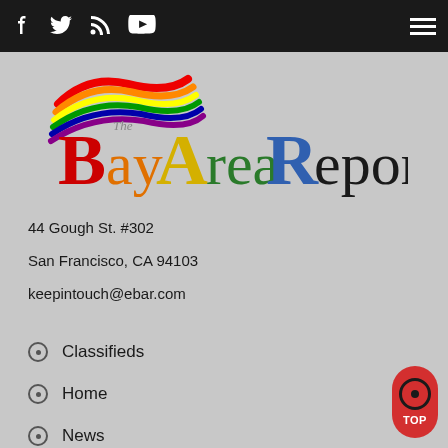Navigation bar with social icons (Facebook, Twitter, RSS, YouTube) and hamburger menu
[Figure (logo): The Bay Area Reporter logo with rainbow flag graphic and multicolored text]
44 Gough St. #302
San Francisco, CA 94103
keepintouch@ebar.com
Classifieds
Home
News
Arts & Entertainment
BARtab